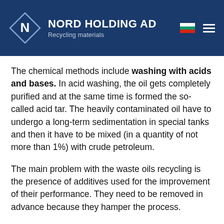NORD HOLDING AD Recycling materials
The chemical methods include washing with acids and bases. In acid washing, the oil gets completely purified and at the same time is formed the so-called acid tar. The heavily contaminated oil have to undergo a long-term sedimentation in special tanks and then it have to be mixed (in a quantity of not more than 1%) with crude petroleum.
The main problem with the waste oils recycling is the presence of additives used for the improvement of their performance. They need to be removed in advance because they hamper the process.